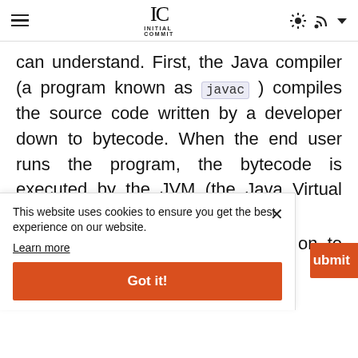INITIAL COMMIT
can understand. First, the Java compiler (a program known as javac ) compiles the source code written by a developer down to bytecode. When the end user runs the program, the bytecode is executed by the JVM (the Java Virtual Machine),
on to
This website uses cookies to ensure you get the best experience on our website. Learn more Got it!